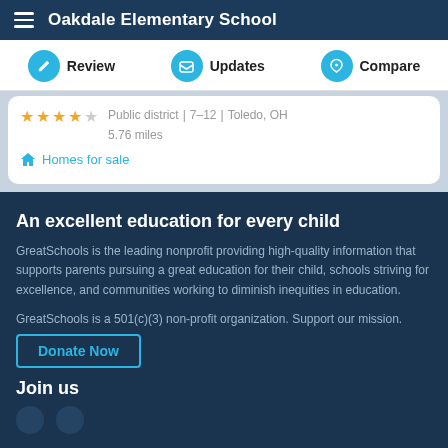Oakdale Elementary School
Review | Updates | Compare
Public district | 7-12 | Toledo, OH
5.76 miles
Homes for sale
An excellent education for every child
GreatSchools is the leading nonprofit providing high-quality information that supports parents pursuing a great education for their child, schools striving for excellence, and communities working to diminish inequities in education.
GreatSchools is a 501(c)(3) non-profit organization. Support our mission.
Donate Now
Join us